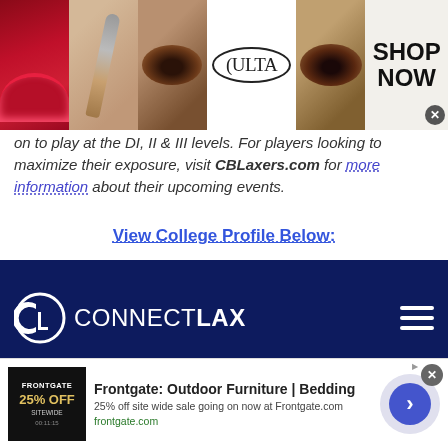[Figure (photo): ULTA beauty advertisement banner showing makeup images: red lips, brush, eye makeup, ULTA logo, eye shadow look, and SHOP NOW text with close button]
on to play at the DI, II & III levels. For players looking to maximize their exposure, visit CBLaxers.com for more information about their upcoming events.
View College Profile Below:
[Figure (screenshot): ConnectLax website header with dark navy background showing the ConnectLax logo (CL icon + CONNECTLAX text) and hamburger menu icon, followed by a lighter blue bar with LOG IN and SIGN UP options]
[Figure (screenshot): Frontgate outdoor furniture advertisement showing 25% off site wide sale, with frontgate.com link and arrow button]